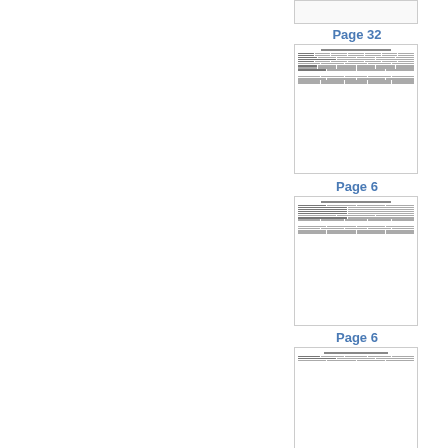[Figure (table-as-image): Partial top thumbnail of a document page (cropped at top of view)]
Page 32
[Figure (table-as-image): Thumbnail of Page 32 showing a multi-row tabular government document with columns of data entries]
Page 6
[Figure (table-as-image): Thumbnail of Page 6 showing a multi-row tabular government document with columns of data entries]
Page 6
[Figure (table-as-image): Partial bottom thumbnail of another Page 6 document (partially visible)]